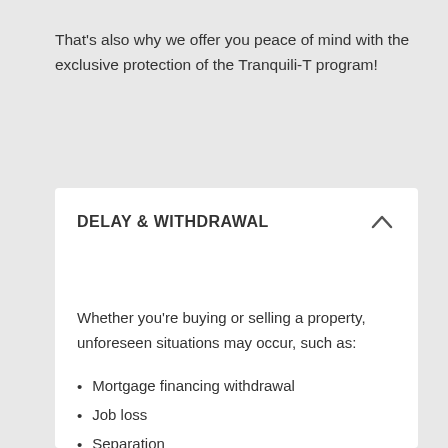That's also why we offer you peace of mind with the exclusive protection of the Tranquili-T program!
DELAY & WITHDRAWAL
Whether you're buying or selling a property, unforeseen situations may occur, such as:
Mortgage financing withdrawal
Job loss
Separation
Fire
Surveying problem